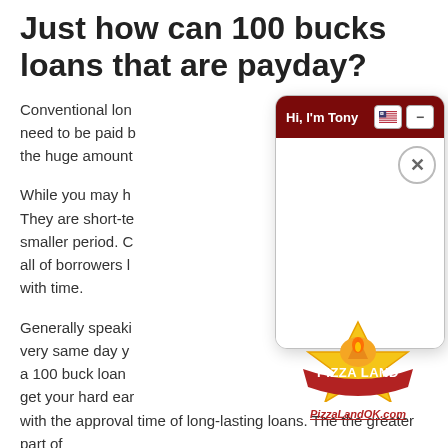Just how can 100 bucks loans that are payday?
Conventional lon... need to be paid b... the huge amount...
While you may h... They are short-te... smaller period. C... all of borrowers l... with time.
Generally speaki... very same day y... a 100 buck loan... get your hard ear... with the approval time of long-lasting loans. The the greater part of
[Figure (screenshot): Chat widget overlay with dark red header reading 'Hi, I'm Tony', US flag icon, minimize button, close (X) button, and white body area. In the bottom right corner is a Pizza Land logo with the URL PizzaLandOK.com.]